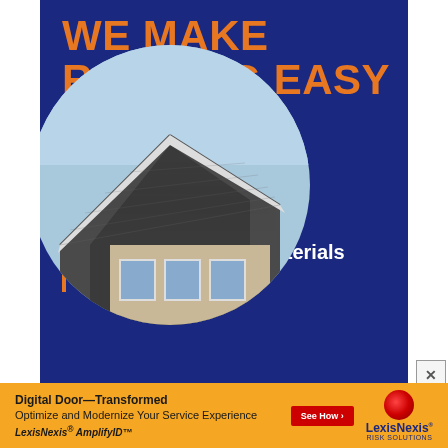[Figure (infographic): Blue background roofing advertisement with orange text headline 'WE MAKE ROOFING EASY', two bullet points with orange bars, and a circular photo of a house roof]
WE MAKE ROOFING EASY
Qualify for interest free financing
50% off all roofing materials
[Figure (infographic): LexisNexis Risk Solutions banner ad in orange: 'Digital Door—Transformed Optimize and Modernize Your Service Experience LexisNexis AmplifyID™' with red See How button and LexisNexis logo]